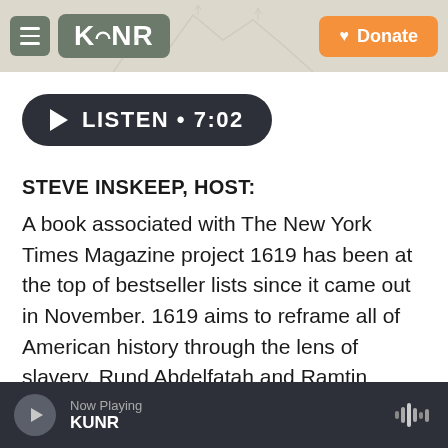KUNR — Donate
[Figure (screenshot): KUNR radio station website header with hamburger menu, KUNR logo, and orange Donate button]
LISTEN • 7:02
STEVE INSKEEP, HOST:
A book associated with The New York Times Magazine project 1619 has been at the top of bestseller lists since it came out in November. 1619 aims to reframe all of American history through the lens of slavery. Rund Abdelfatah and Ramtin Arablouei, the hosts of our history podcast They also talked with the...
Now Playing KUNR